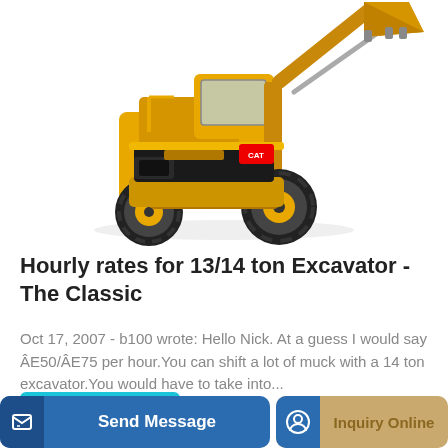[Figure (photo): Yellow front-end loader / wheel loader excavator photographed on white background, shown at an angle from the front-right, with a raised bucket arm]
Hourly rates for 13/14 ton Excavator - The Classic
Oct 17, 2007 - b100 wrote: Hello Nick. At a guess I would say £50/£75 per hour.You can shift a lot of muck with a 14 ton excavator.You would have to take into...
Learn More
Send Message
Inquiry Online